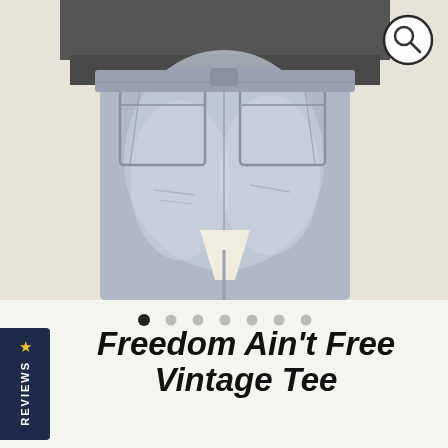[Figure (photo): Back view of person wearing light washed distressed jeans and a dark grey t-shirt, showing the back pockets of jeans]
[Figure (other): Image carousel dot indicators with first dot active (dark) and six lighter dots]
[Figure (other): Circular search/magnify icon in top right corner]
★ REVIEWS
Freedom Ain't Free Vintage Tee
★★★★★ 14 Reviews
$40.00  FREE RETURNS
Shipping calculated at checkout.
≡ MENU
Size    Quantity